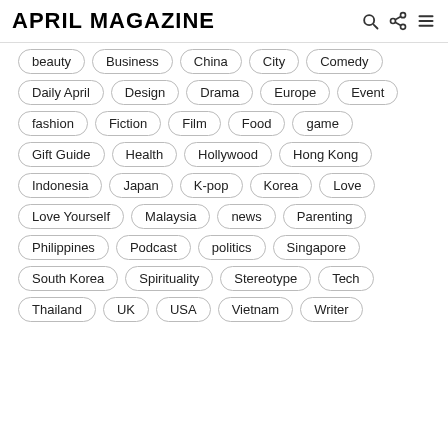APRIL MAGAZINE
beauty
Business
China
City
Comedy
Daily April
Design
Drama
Europe
Event
fashion
Fiction
Film
Food
game
Gift Guide
Health
Hollywood
Hong Kong
Indonesia
Japan
K-pop
Korea
Love
Love Yourself
Malaysia
news
Parenting
Philippines
Podcast
politics
Singapore
South Korea
Spirituality
Stereotype
Tech
Thailand
UK
USA
Vietnam
Writer